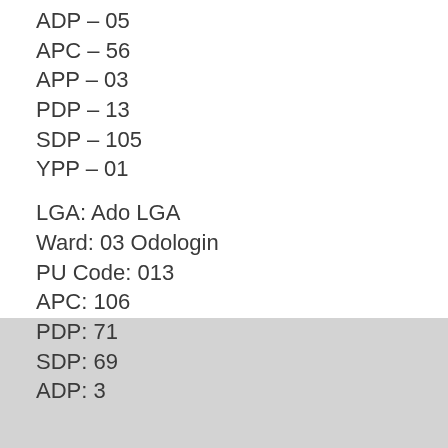ADP – 05
APC – 56
APP – 03
PDP – 13
SDP – 105
YPP – 01
LGA: Ado LGA
Ward: 03 Odologin
PU Code: 013
APC: 106
PDP: 71
SDP: 69
ADP: 3